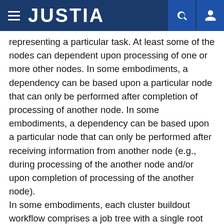JUSTIA
representing a particular task. At least some of the nodes can dependent upon processing of one or more other nodes. In some embodiments, a dependency can be based upon a particular node that can only be performed after completion of processing of another node. In some embodiments, a dependency can be based upon a particular node that can only be performed after receiving information from another node (e.g., during processing of the another node and/or upon completion of processing of the another node).
In some embodiments, each cluster buildout workflow comprises a job tree with a single root job and zero, one or more subjobs. Each job (root or sub) contains one or more tasks. Jobs can be executed in parallel with respect to one another. Tasks inside a given job can execute in parallel with respect to one another. Additionally